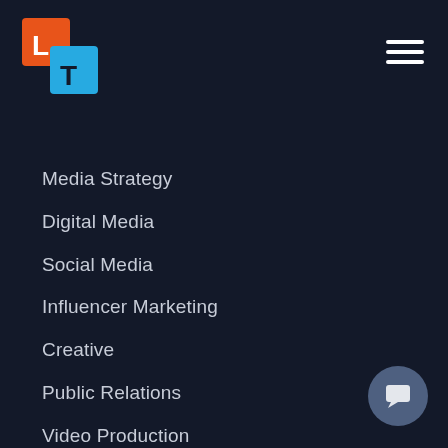[Figure (logo): LT logo with orange square containing L and cyan square containing T]
[Figure (other): Hamburger menu icon with three horizontal white lines]
Media Strategy
Digital Media
Social Media
Influencer Marketing
Creative
Public Relations
Video Production
Content Marketing
Email Marketing Automation
Data & Analytics
Search Engine Optimization
User Experience Design
[Figure (other): Chat bubble icon in dark circle at bottom right]